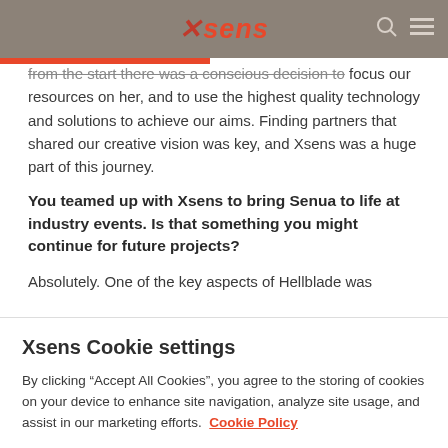xsens
from the start there was a conscious decision to focus our resources on her, and to use the highest quality technology and solutions to achieve our aims. Finding partners that shared our creative vision was key, and Xsens was a huge part of this journey.
You teamed up with Xsens to bring Senua to life at industry events. Is that something you might continue for future projects?
Absolutely. One of the key aspects of Hellblade was
Xsens Cookie settings
By clicking “Accept All Cookies”, you agree to the storing of cookies on your device to enhance site navigation, analyze site usage, and assist in our marketing efforts. Cookie Policy